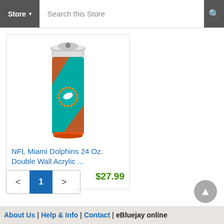Store ▾  Search this Store
[Figure (photo): NFL Miami Dolphins 24 Oz. Double Wall Acrylic tumbler cup with teal and orange team colors and dolphin logo]
NFL Miami Dolphins 24 Oz. Double Wall Acrylic ...
$27.99
< 1 >
About Us | Help & Info | Contact | eBluejay online